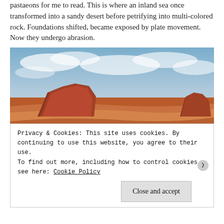pastaeons for me to read. This is where an inland sea once transformed into a sandy desert before petrifying into multi-colored rock. Foundations shifted, became exposed by plate movement. Now they undergo abrasion.
[Figure (photo): Landscape photograph of a red rock desert scene with layered sandstone formations, sparse desert shrubs, and a cloudy blue sky.]
Privacy & Cookies: This site uses cookies. By continuing to use this website, you agree to their use.
To find out more, including how to control cookies, see here: Cookie Policy
Close and accept